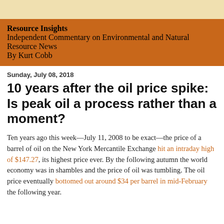Resource Insights
Independent Commentary on Environmental and Natural Resource News
By Kurt Cobb
Sunday, July 08, 2018
10 years after the oil price spike: Is peak oil a process rather than a moment?
Ten years ago this week—July 11, 2008 to be exact—the price of a barrel of oil on the New York Mercantile Exchange hit an intraday high of $147.27, its highest price ever. By the following autumn the world economy was in shambles and the price of oil was tumbling. The oil price eventually bottomed out around $34 per barrel in mid-February the following year.